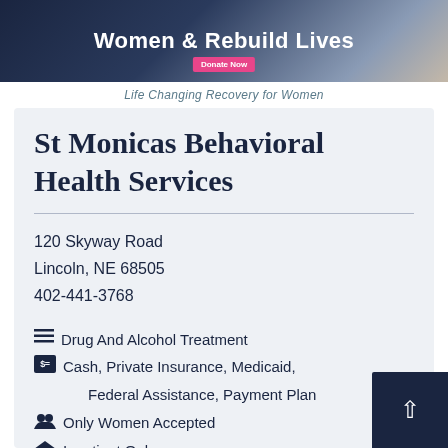[Figure (photo): Banner image with text 'Women & Rebuild Lives' and a pink 'Donate Now' button over a dark blue and skin-toned photo background]
Life Changing Recovery for Women
St Monicas Behavioral Health Services
120 Skyway Road
Lincoln, NE 68505
402-441-3768
Drug And Alcohol Treatment
Cash, Private Insurance, Medicaid, Federal Assistance, Payment Plan
Only Women Accepted
Inpatient Only
No Smoking
47 miles From Jansen